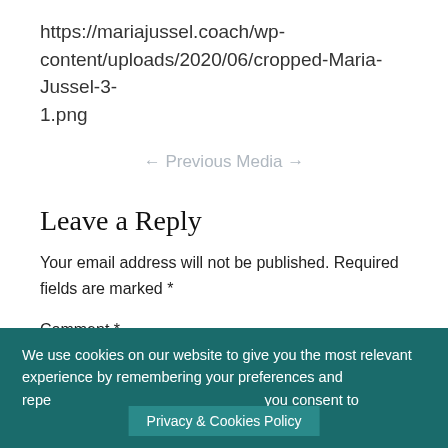https://mariajussel.coach/wp-content/uploads/2020/06/cropped-Maria-Jussel-3-1.png
← Previous Media →
Leave a Reply
Your email address will not be published. Required fields are marked *
Comment *
We use cookies on our website to give you the most relevant experience by remembering your preferences and repeat visits. By clicking "Accept", you consent to the use of ALL the cookies.
Privacy & Cookies Policy